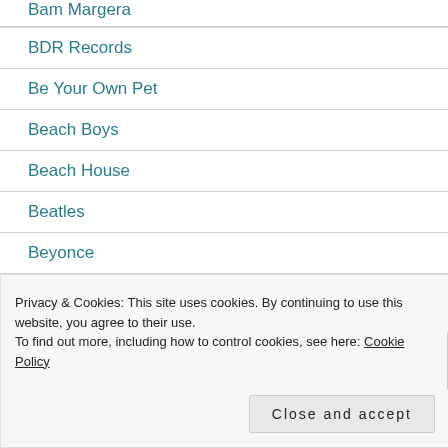BDR Records
Be Your Own Pet
Beach Boys
Beach House
Beatles
Beyonce
Big Black
Privacy & Cookies: This site uses cookies. By continuing to use this website, you agree to their use.
To find out more, including how to control cookies, see here: Cookie Policy
Close and accept